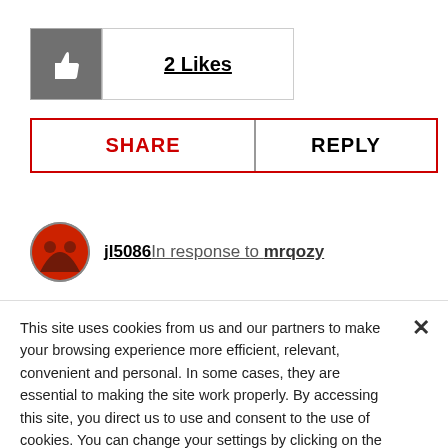[Figure (other): Thumbs up icon button with '2 Likes' text button next to it]
SHARE    REPLY
jl5086 In response to mrqozy
This site uses cookies from us and our partners to make your browsing experience more efficient, relevant, convenient and personal. In some cases, they are essential to making the site work properly. By accessing this site, you direct us to use and consent to the use of cookies. You can change your settings by clicking on the Cookie Settings link. For more information, refer to AMD's privacy policy and cookie policy.
Cookies Settings